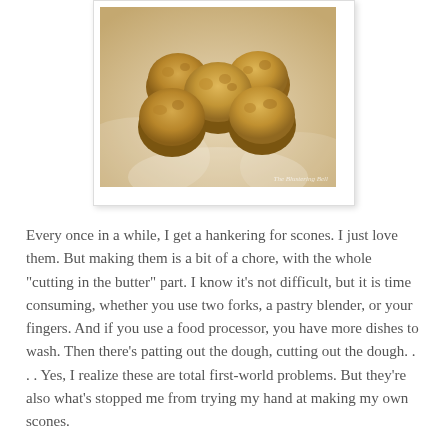[Figure (photo): A photograph of golden-brown drop scones piled together on a light cloth, presented in a white polaroid-style frame with drop shadow.]
Every once in a while, I get a hankering for scones. I just love them. But making them is a bit of a chore, with the whole "cutting in the butter" part. I know it's not difficult, but it is time consuming, whether you use two forks, a pastry blender, or your fingers. And if you use a food processor, you have more dishes to wash. Then there's patting out the dough, cutting out the dough. . . . Yes, I realize these are total first-world problems. But they're also what's stopped me from trying my hand at making my own scones.
Until now. Enter Cream Drop Scones.